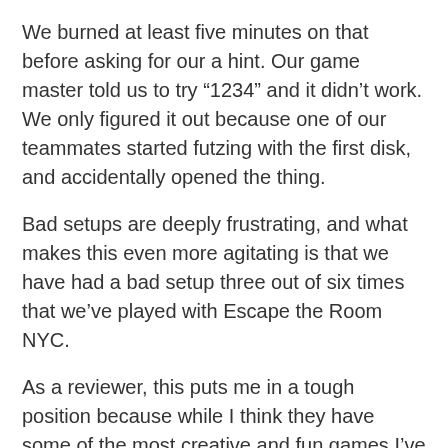We burned at least five minutes on that before asking for our a hint. Our game master told us to try “1234” and it didn’t work. We only figured it out because one of our teammates started futzing with the first disk, and accidentally opened the thing.
Bad setups are deeply frustrating, and what makes this even more agitating is that we have had a bad setup three out of six times that we’ve played with Escape the Room NYC.
As a reviewer, this puts me in a tough position because while I think they have some of the most creative and fun games I’ve ever encountered, they have consistent quality control issues that are inexcusable.
Bad setups are never ok. You only get to play these games once; they should be set up correctly.